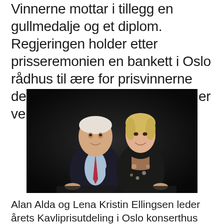Vinnerne mottar i tillegg en gullmedalje og et diplom. Regjeringen holder etter prisseremonien en bankett i Oslo rådhus til ære for prisvinnerne der statsminister Erna Solberg er vert.
[Figure (photo): Two people posing for a portrait photo against a dark/black background. On the left is an older man in a dark suit with a light blue shirt and red tie, with white hair. On the right is a blonde woman in a dark floral dress, both smiling at the camera.]
Alan Alda og Lena Kristin Ellingsen leder årets Kavliprisutdeling i Oslo konserthus tirsdag 6.